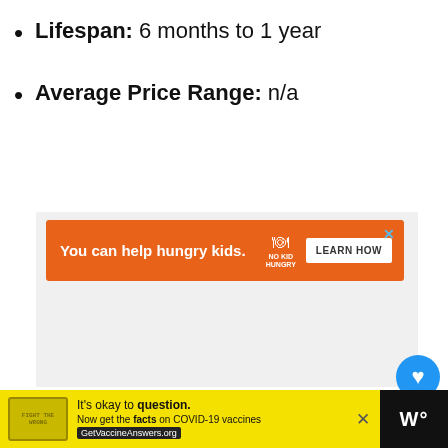Lifespan: 6 months to 1 year
Average Price Range: n/a
[Figure (screenshot): Orange advertisement banner: 'You can help hungry kids.' with No Kid Hungry logo and LEARN HOW button, with close (X) button. Below it a gray section area.]
[Figure (infographic): Blue circular heart/like button above count '26', and a share button below. To the left, a 'WHAT'S NEXT' card with thumbnail and text 'Snakes in Wisconsin'.]
[Figure (screenshot): Bottom advertisement bar with yellow background: pill-shaped stamp icon, text 'It's okay to question. Now get the facts on COVID-19 vaccines GetVaccineAnswers.org', close X button, and black section with W logo.]